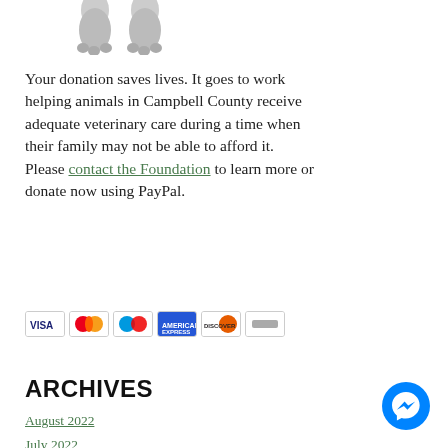[Figure (photo): Partial image of an animal (dog paws visible at bottom of crop), black and white photo cropped at top of page]
Your donation saves lives. It goes to work helping animals in Campbell County receive adequate veterinary care during a time when their family may not be able to afford it. Please contact the Foundation to learn more or donate now using PayPal.
[Figure (other): PayPal Donate button (yellow/gold rounded rectangle with 'Donate' text in black) followed by payment method icons: Visa, Mastercard, Maestro, American Express, Discover, and another card]
ARCHIVES
August 2022
July 2022
June 2022
May 2022
April 2022